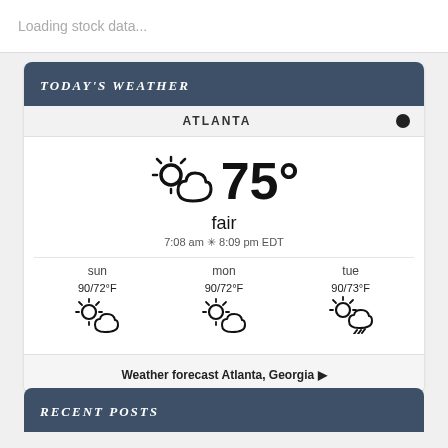Loading stock data...
TODAY'S WEATHER
ATLANTA
[Figure (infographic): Weather icon showing partly cloudy / fair conditions with sun behind cloud]
75°
fair
7:08 am ✳ 8:09 pm EDT
sun
90/72°F
mon
90/72°F
tue
90/73°F
Weather forecast Atlanta, Georgia ▶
RECENT POSTS